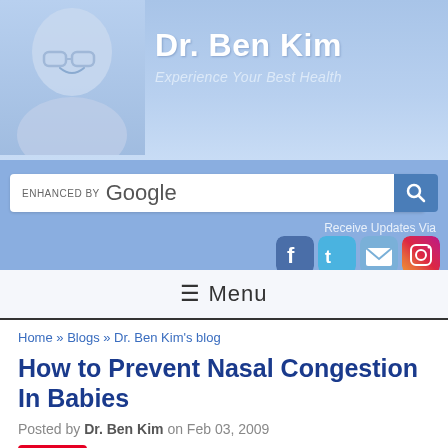Dr. Ben Kim — Experience Your Best Health
[Figure (screenshot): Website header with Dr. Ben Kim photo, title, search bar, social icons, and menu bar]
Home » Blogs » Dr. Ben Kim's blog
How to Prevent Nasal Congestion In Babies
Posted by Dr. Ben Kim on Feb 03, 2009
Save (Pinterest button)
Children's Health Issues
Updated on February 2, 2009